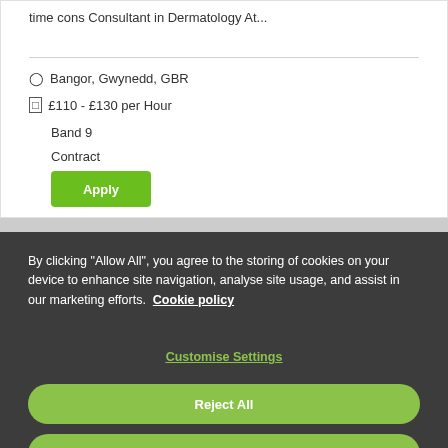time cons Consultant in Dermatology At...
Bangor, Gwynedd, GBR
£110 - £130 per Hour
Band 9
Contract
Apply
By clicking "Allow All", you agree to the storing of cookies on your device to enhance site navigation, analyse site usage, and assist in our marketing efforts. Cookie policy
Customise Settings
Reject All
Allow All